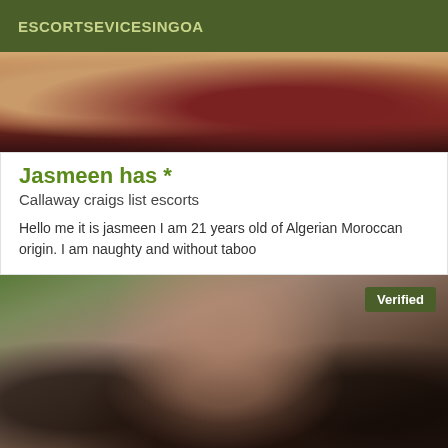ESCORTSEVICESINGOA
[Figure (photo): Top photo showing partial view of a person, warm brown and dark red tones]
Jasmeen has *
Callaway craigs list escorts
Hello me it is jasmeen I am 21 years old of Algerian Moroccan origin. I am naughty and without taboo
[Figure (photo): Portrait photo of a young woman with long dark hair wearing a black fur-trimmed jacket, with a Verified badge overlay in the top right corner]